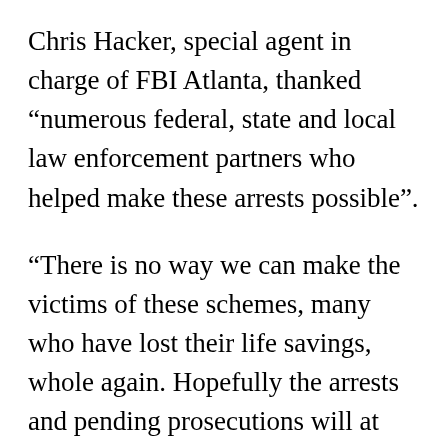Chris Hacker, special agent in charge of FBI Atlanta, thanked “numerous federal, state and local law enforcement partners who helped make these arrests possible”.
“There is no way we can make the victims of these schemes, many who have lost their life savings, whole again. Hopefully the arrests and pending prosecutions will at least give them solace that someone is being held accountable for their losses,” he said.
Last year, FBI released a list of 80 suspects arrested